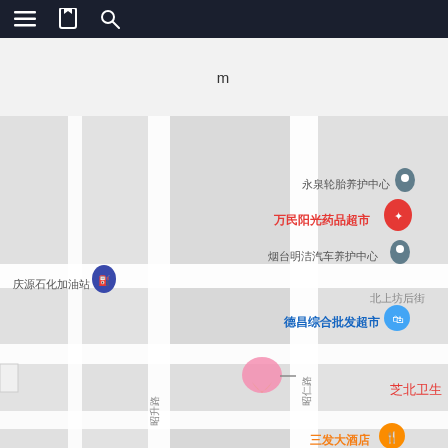[Figure (screenshot): Mobile app toolbar with hamburger menu, bookmark icon, and search icon on dark background]
m
[Figure (map): Chinese map showing streets and businesses including 永泉轮胎养护中心, 万民阳光药品超市, 烟台明洁汽车养护中心, 庆源石化加油站, 北上坊后街, 德昌综合批发超市, 芝北卫生, 三发大酒店 with various map pins and markers]